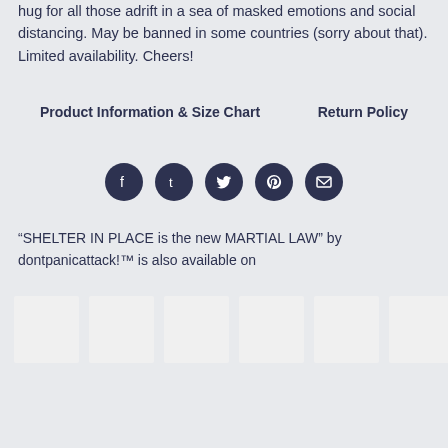hug for all those adrift in a sea of masked emotions and social distancing. May be banned in some countries (sorry about that). Limited availability. Cheers!
Product Information & Size Chart    Return Policy
[Figure (other): Row of five social media icon buttons (Facebook, Tumblr, Twitter, Pinterest, Email) as dark circular icons]
“SHELTER IN PLACE is the new MARTIAL LAW” by dontpanicattack!™ is also available on
[Figure (other): Row of six product thumbnail placeholder images (light gray rectangles)]